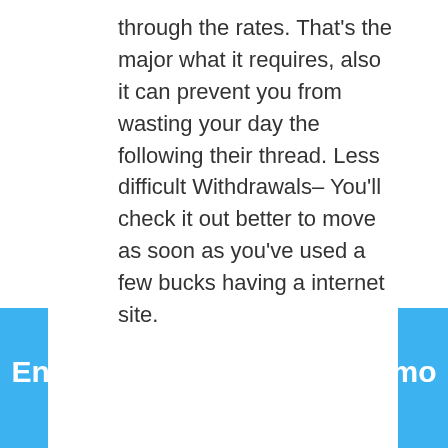through the rates. That's the major what it requires, also it can prevent you from wasting your day the following their thread. Less difficult Withdrawals– You'll check it out better to move as soon as you've used a few bucks having a internet site.
Contato
Entre em contato e veja como podemos lhe ajudar!
CONTATO ▶